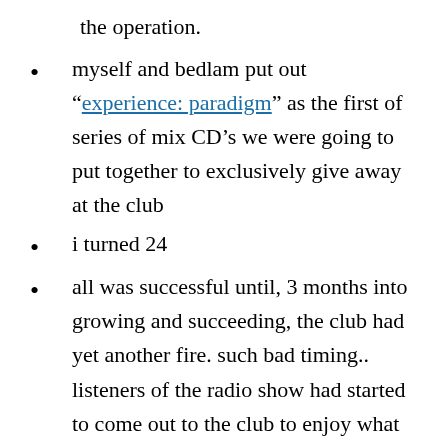the operation.
myself and bedlam put out “experience: paradigm” as the first of series of mix CD’s we were going to put together to exclusively give away at the club
i turned 24
all was successful until, 3 months into growing and succeeding, the club had yet another fire. such bad timing.. listeners of the radio show had started to come out to the club to enjoy what they had been